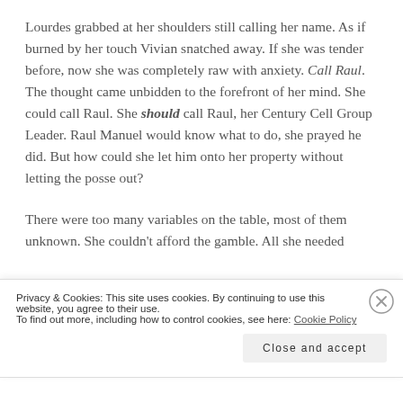Lourdes grabbed at her shoulders still calling her name. As if burned by her touch Vivian snatched away. If she was tender before, now she was completely raw with anxiety. Call Raul. The thought came unbidden to the forefront of her mind. She could call Raul. She should call Raul, her Century Cell Group Leader. Raul Manuel would know what to do, she prayed he did. But how could she let him onto her property without letting the posse out?
There were too many variables on the table, most of them unknown. She couldn't afford the gamble. All she needed
Privacy & Cookies: This site uses cookies. By continuing to use this website, you agree to their use.
To find out more, including how to control cookies, see here: Cookie Policy
Close and accept